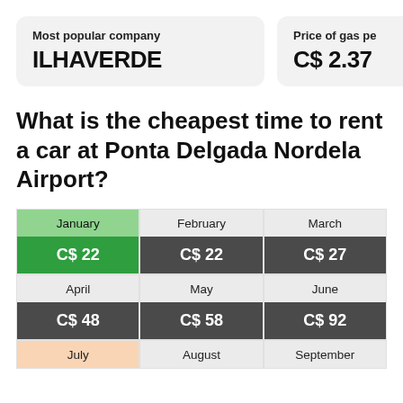Most popular company
ILHAVERDE
Price of gas pe
C$ 2.37
What is the cheapest time to rent a car at Ponta Delgada Nordela Airport?
| Month | Price |
| --- | --- |
| January | C$ 22 |
| February | C$ 22 |
| March | C$ 27 |
| April | C$ 48 |
| May | C$ 58 |
| June | C$ 92 |
| July |  |
| August |  |
| September |  |